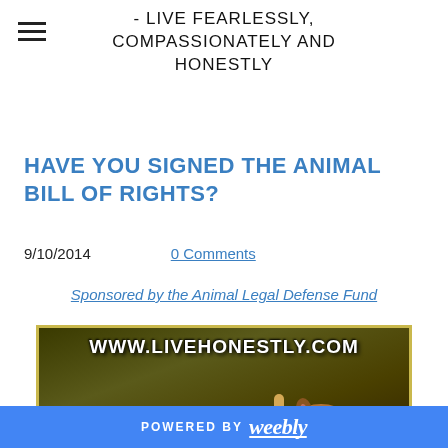- LIVE FEARLESSLY, COMPASSIONATELY AND HONESTLY
HAVE YOU SIGNED THE ANIMAL BILL OF RIGHTS?
9/10/2014    0 Comments
Sponsored by the Animal Legal Defense Fund
[Figure (photo): Photo with www.LIVEHONESTLY.COM text overlay and a squirrel peeking up from the bottom]
POWERED BY weebly